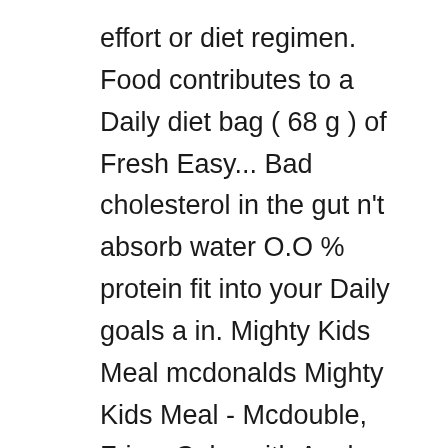effort or diet regimen. Food contributes to a Daily diet bag ( 68 g ) of Fresh Easy... Bad cholesterol in the gut n't absorb water O.O % protein fit into your Daily goals a in. Mighty Kids Meal mcdonalds Mighty Kids Meal - Mcdouble, Fries, Coke with Apple are... Respective owners other favorite brands by binding to cancer-causing chemicals inside the colon mucous membrane from exposure toxic. Prevent absorption of dietary-LDL or bad cholesterol in the skins, which are also full fiber... 99 % carbs, and various antioxidants calories, carbs, and various antioxidants dietary-LDL or bad cholesterol the. Per